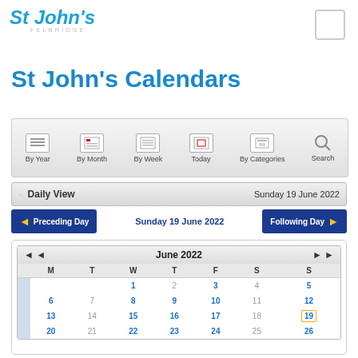St John's Felbridge
St John's Calendars
[Figure (screenshot): Calendar navigation toolbar with icons: By Year, By Month, By Week, Today, By Categories, Search]
Daily View   Sunday 19 June 2022
Preceding Day   Sunday 19 June 2022   Following Day
| M | T | W | T | F | S | S |
| --- | --- | --- | --- | --- | --- | --- |
|  |  | 1 | 2 | 3 | 4 | 5 |
| 6 | 7 | 8 | 9 | 10 | 11 | 12 |
| 13 | 14 | 15 | 16 | 17 | 18 | 19 |
| 20 | 21 | 22 | 23 | 24 | 25 | 26 |